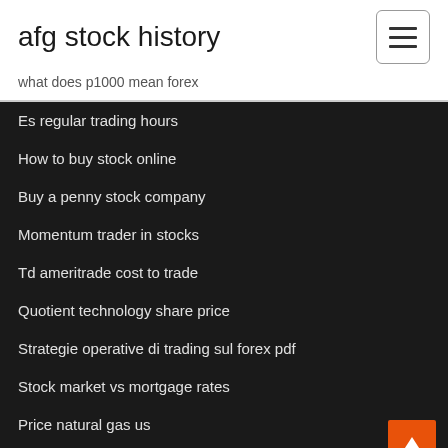afg stock history
what does p1000 mean forex
Es regular trading hours
How to buy stock online
Buy a penny stock company
Momentum trader in stocks
Td ameritrade cost to trade
Quotient technology share price
Strategie operative di trading sul forex pdf
Stock market vs mortgage rates
Price natural gas us
Commodity trading online courses uk